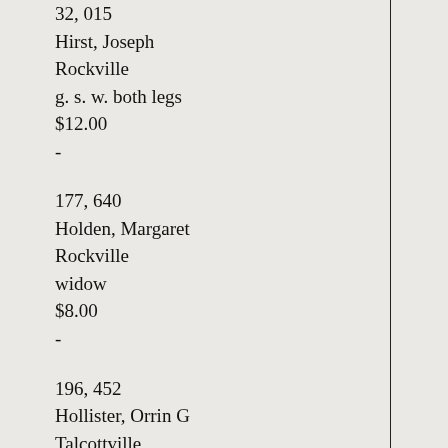32, 015
Hirst, Joseph
Rockville
g. s. w. both legs
$12.00
-
177, 640
Holden, Margaret
Rockville
widow
$8.00
-
196, 452
Hollister, Orrin G
Talcottville
g. s. w. back and r. shr
$4.00
Oct., 1881
5, 798
Horton, Laura J